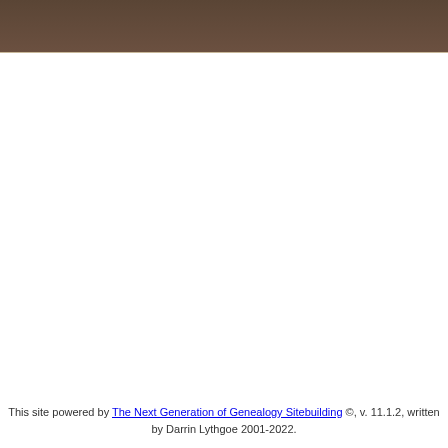Switch to standard site
This site powered by The Next Generation of Genealogy Sitebuilding ©, v. 11.1.2, written by Darrin Lythgoe 2001-2022.